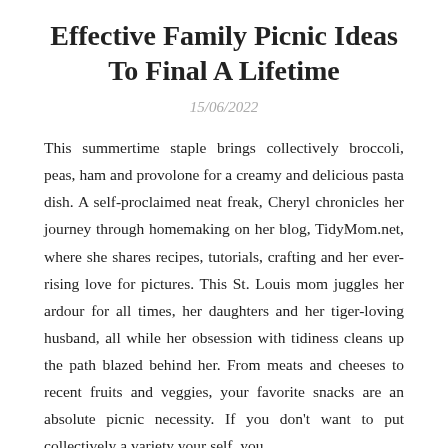Effective Family Picnic Ideas To Final A Lifetime
15/06/2022
This summertime staple brings collectively broccoli, peas, ham and provolone for a creamy and delicious pasta dish. A self-proclaimed neat freak, Cheryl chronicles her journey through homemaking on her blog, TidyMom.net, where she shares recipes, tutorials, crafting and her ever-rising love for pictures. This St. Louis mom juggles her ardour for all times, her daughters and her tiger-loving husband, all while her obsession with tidiness cleans up the path blazed behind her. From meats and cheeses to recent fruits and veggies, your favorite snacks are an absolute picnic necessity. If you don't want to put collectively a variety your self, you